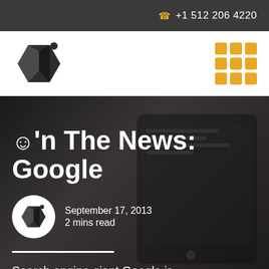+1 512 206 4220
[Figure (logo): Company logo: dark hexagon/cube shape with small dot, and orange grid of 9 squares]
ℹ'n The News: Google
September 17, 2013
2 mins read
Search engine giant Google is